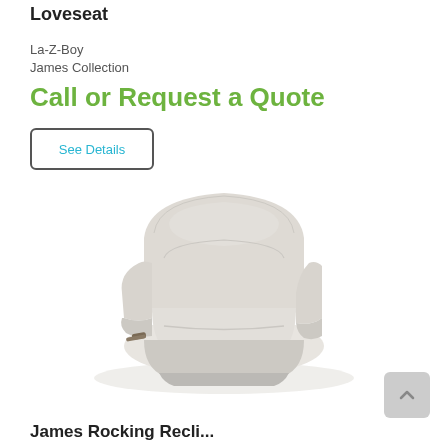Loveseat
La-Z-Boy
James Collection
Call or Request a Quote
See Details
[Figure (photo): A cream/off-white leather La-Z-Boy recliner chair with padded arms and back, shown at an angle with a lever handle visible on the left side.]
James Rocking Recli...